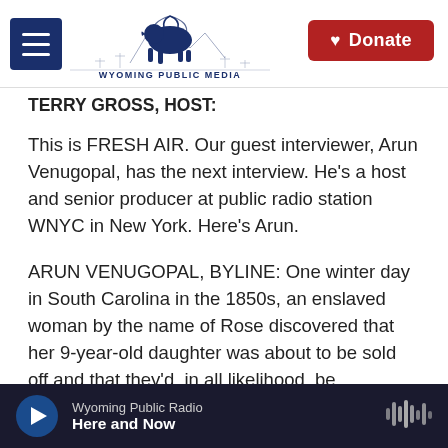Wyoming Public Media — [menu icon] [Donate button]
TERRY GROSS, HOST:
This is FRESH AIR. Our guest interviewer, Arun Venugopal, has the next interview. He's a host and senior producer at public radio station WNYC in New York. Here's Arun.
ARUN VENUGOPAL, BYLINE: One winter day in South Carolina in the 1850s, an enslaved woman by the name of Rose discovered that her 9-year-old daughter was about to be sold off and that they'd, in all likelihood, be separated for the rest of their
Wyoming Public Radio — Here and Now